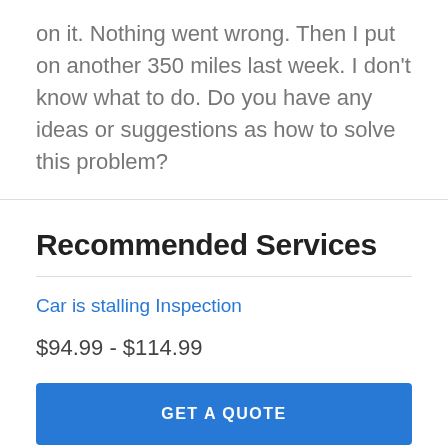on it. Nothing went wrong. Then I put on another 350 miles last week. I don't know what to do. Do you have any ideas or suggestions as how to solve this problem?
Recommended Services
Car is stalling Inspection
$94.99 - $114.99
GET A QUOTE
Spencer Clayton
Automotive Mechanic